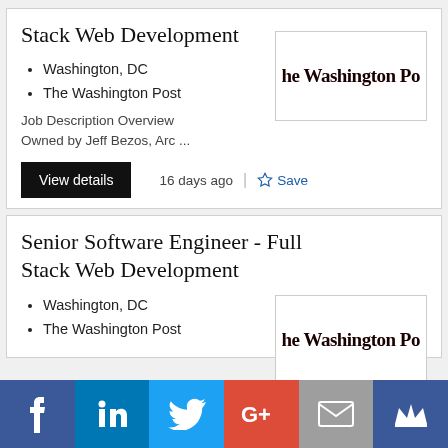Stack Web Development
Washington, DC
The Washington Post
[Figure (logo): The Washington Post logo in blackletter/gothic font]
Job Description Overview Owned by Jeff Bezos, Arc ...
View details
16 days ago
Save
Senior Software Engineer - Full Stack Web Development
Washington, DC
The Washington Post
[Figure (logo): The Washington Post logo in blackletter/gothic font]
[Figure (infographic): Social sharing bar with Facebook, LinkedIn, Twitter, Google+, Email, and Crown icons]